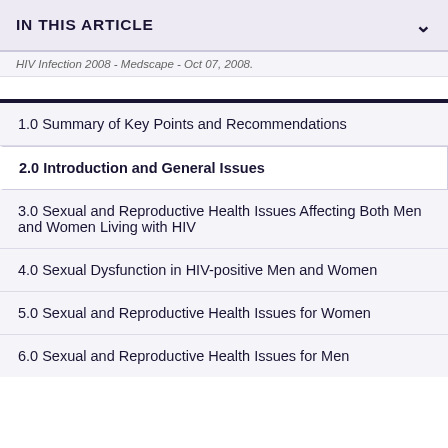IN THIS ARTICLE
HIV Infection 2008 - Medscape - Oct 07, 2008.
1.0 Summary of Key Points and Recommendations
2.0 Introduction and General Issues
3.0 Sexual and Reproductive Health Issues Affecting Both Men and Women Living with HIV
4.0 Sexual Dysfunction in HIV-positive Men and Women
5.0 Sexual and Reproductive Health Issues for Women
6.0 Sexual and Reproductive Health Issues for Men